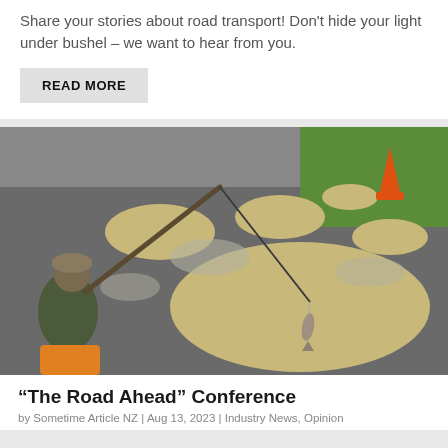Share your stories about road transport! Don't hide your light under bushel – we want to hear from you.
READ MORE
[Figure (photo): A person crouching on a pothole-filled road appearing to fish in a large puddle-filled pothole with a fishing rod, with an orange traffic cone visible in the background on a grassy area.]
“The Road Ahead” Conference
by Sometime Article NZ | Aug 13, 2023 | Industry News, Opinion